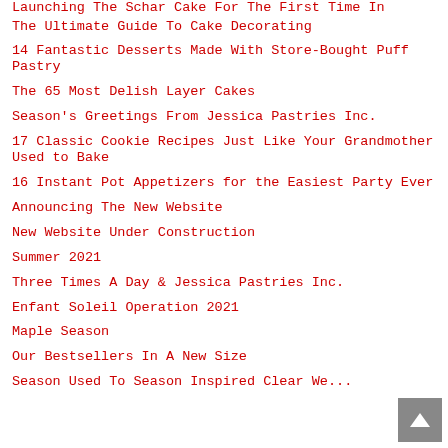Launching The Schar Cake For The First Time In Canada
The Ultimate Guide To Cake Decorating
14 Fantastic Desserts Made With Store-Bought Puff Pastry
The 65 Most Delish Layer Cakes
Season's Greetings From Jessica Pastries Inc.
17 Classic Cookie Recipes Just Like Your Grandmother Used to Bake
16 Instant Pot Appetizers for the Easiest Party Ever
Announcing The New Website
New Website Under Construction
Summer 2021
Three Times A Day & Jessica Pastries Inc.
Enfant Soleil Operation 2021
Maple Season
Our Bestsellers In A New Size
Season Used To Season Inspired Clear We...